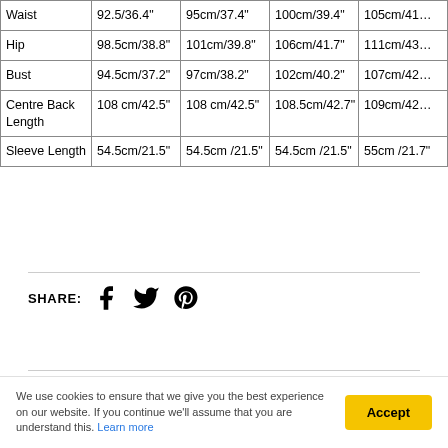|  | Size 1 | Size 2 | Size 3 | Size 4 |
| --- | --- | --- | --- | --- |
| Waist | 92.5/36.4" | 95cm/37.4" | 100cm/39.4" | 105cm/41… |
| Hip | 98.5cm/38.8" | 101cm/39.8" | 106cm/41.7" | 111cm/43… |
| Bust | 94.5cm/37.2" | 97cm/38.2" | 102cm/40.2" | 107cm/42… |
| Centre Back Length | 108 cm/42.5" | 108 cm/42.5" | 108.5cm/42.7" | 109cm/42… |
| Sleeve Length | 54.5cm/21.5" | 54.5cm /21.5" | 54.5cm /21.5" | 55cm /21.7" |
SHARE:
More in this Collection
We use cookies to ensure that we give you the best experience on our website. If you continue we'll assume that you are understand this. Learn more